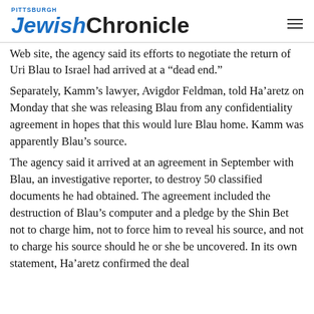Pittsburgh Jewish Chronicle
Web site, the agency said its efforts to negotiate the return of Uri Blau to Israel had arrived at a “dead end.”
Separately, Kamm’s lawyer, Avigdor Feldman, told Ha’aretz on Monday that she was releasing Blau from any confidentiality agreement in hopes that this would lure Blau home. Kamm was apparently Blau’s source.
The agency said it arrived at an agreement in September with Blau, an investigative reporter, to destroy 50 classified documents he had obtained. The agreement included the destruction of Blau’s computer and a pledge by the Shin Bet not to charge him, not to force him to reveal his source, and not to charge his source should he or she be uncovered. In its own statement, Ha’aretz confirmed the deal